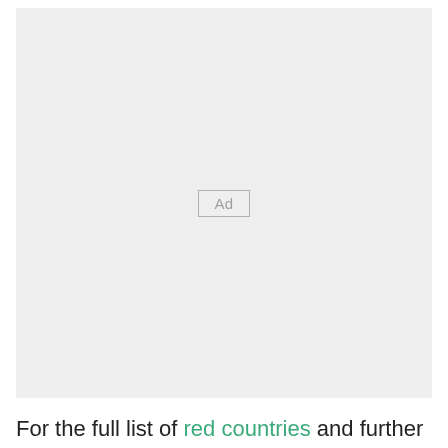[Figure (other): Advertisement placeholder box with 'Ad' label in center on light gray background]
For the full list of red countries and further